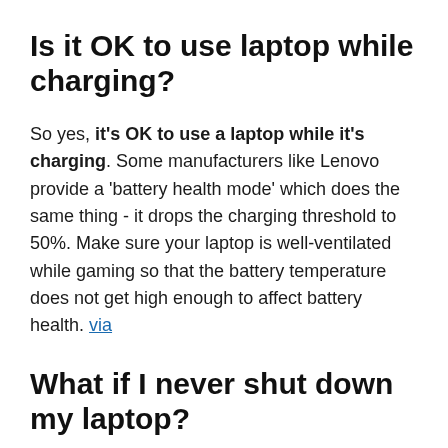Is it OK to use laptop while charging?
So yes, it's OK to use a laptop while it's charging. Some manufacturers like Lenovo provide a 'battery health mode' which does the same thing - it drops the charging threshold to 50%. Make sure your laptop is well-ventilated while gaming so that the battery temperature does not get high enough to affect battery health. via
What if I never shut down my laptop?